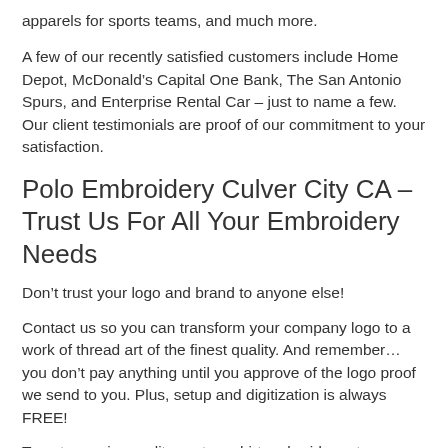apparels for sports teams, and much more.
A few of our recently satisfied customers include Home Depot, McDonald’s Capital One Bank, The San Antonio Spurs, and Enterprise Rental Car – just to name a few. Our client testimonials are proof of our commitment to your satisfaction.
Polo Embroidery Culver City CA – Trust Us For All Your Embroidery Needs
Don’t trust your logo and brand to anyone else!
Contact us so you can transform your company logo to a work of thread art of the finest quality. And remember… you don’t pay anything until you approve of the logo proof we send to you. Plus, setup and digitization is always FREE!
To get superior quality custom shirt embroidery at remarkably affordable prices, call now at (888) 353-